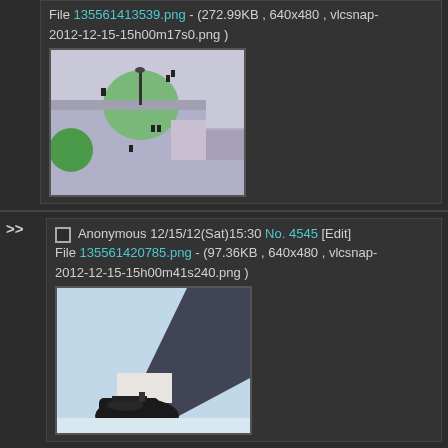File 135561413539.png - (272.99KB , 640x480 , vlcsnap-2012-12-15-15h00m17s0.png )
[Figure (screenshot): Anime screenshot showing aerial view of a courtyard with small figures and green circular element]
Anonymous 12/15/12(Sat)15:30 No. 4545 [Edit] File 135561420785.png - (97.36KB , 640x480 , vlcsnap-2012-12-15-15h00m41s240.png )
[Figure (screenshot): Anime screenshot showing close-up of a black shoe and leg against light blue background]
Anonymous 12/15/12(Sat)15:31 No. 4546 [Edit] File 135561427090.png - (244.47KB , 640x480 , vlcsnap-2012-12-15-15h06m25s94.png )
[Figure (screenshot): Anime screenshot showing blue building exterior]